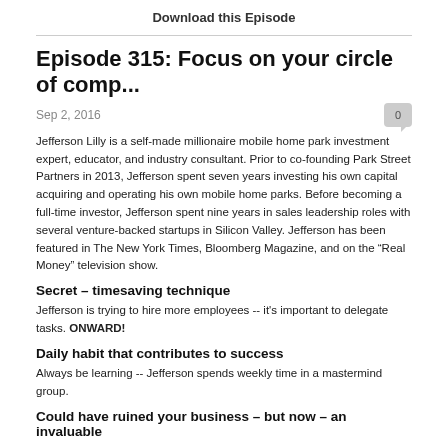Download this Episode
Episode 315: Focus on your circle of comp...
Sep 2, 2016
Jefferson Lilly is a self-made millionaire mobile home park investment expert, educator, and industry consultant. Prior to co-founding Park Street Partners in 2013, Jefferson spent seven years investing his own capital acquiring and operating his own mobile home parks. Before becoming a full-time investor, Jefferson spent nine years in sales leadership roles with several venture-backed startups in Silicon Valley. Jefferson has been featured in The New York Times, Bloomberg Magazine, and on the “Real Money” television show.
Secret – timesaving technique
Jefferson is trying to hire more employees -- it's important to delegate tasks. ONWARD!
Daily habit that contributes to success
Always be learning -- Jefferson spends weekly time in a mastermind group.
Could have ruined your business – but now – an invaluable